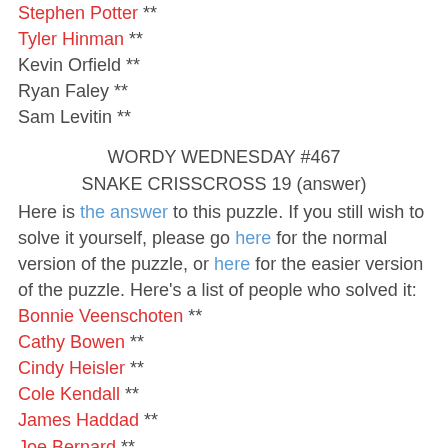Stephen Potter **
Tyler Hinman **
Kevin Orfield **
Ryan Faley **
Sam Levitin **
WORDY WEDNESDAY #467
SNAKE CRISSCROSS 19 (answer)
Here is the answer to this puzzle. If you still wish to solve it yourself, please go here for the normal version of the puzzle, or here for the easier version of the puzzle. Here's a list of people who solved it:
Bonnie Veenschoten **
Cathy Bowen **
Cindy Heisler **
Cole Kendall **
James Haddad **
Joe Bernard **
Karen Spencer **
Michael Lebowitz **
Stephen Potter **
Tyler Hinman **